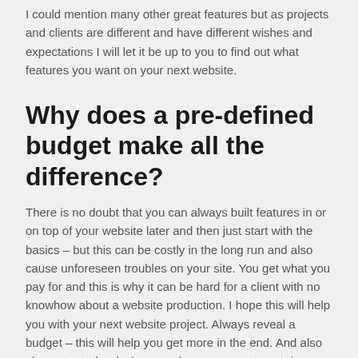I could mention many other great features but as projects and clients are different and have different wishes and expectations I will let it be up to you to find out what features you want on your next website.
Why does a pre-defined budget make all the difference?
There is no doubt that you can always built features in or on top of your website later and then just start with the basics – but this can be costly in the long run and also cause unforeseen troubles on your site. You get what you pay for and this is why it can be hard for a client with no knowhow about a website production. I hope this will help you with your next website project. Always reveal a budget – this will help you get more in the end. And also always trust the designer and programmer to not rip you off – most of us a honest freelancers and businesses who love what we do with goals of making great projects and having longterm happy clients.